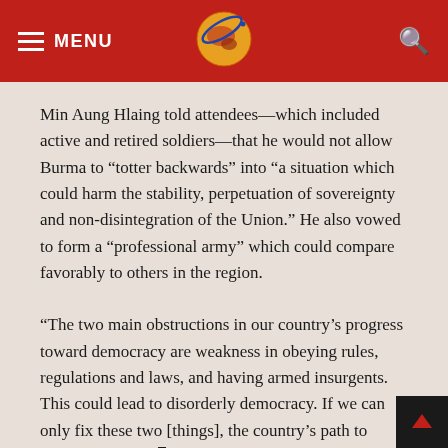MENU [logo] [search]
Min Aung Hlaing told attendees—which included active and retired soldiers—that he would not allow Burma to “totter backwards” into “a situation which could harm the stability, perpetuation of sovereignty and non-disintegration of the Union.” He also vowed to form a “professional army” which could compare favorably to others in the region.
“The two main obstructions in our country’s progress toward democracy are weakness in obeying rules, regulations and laws, and having armed insurgents. This could lead to disorderly democracy. If we can only fix these two [things], the country’s path to democracy will be smooth,” he said.